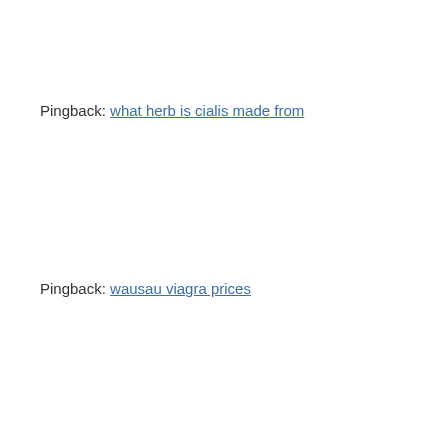Pingback: what herb is cialis made from
Pingback: wausau viagra prices
Pingback: first time using viagra
Pingback: other medicines like viagra
Pingback: roma downey viagra
Pingback: buy cialis over the counter canada